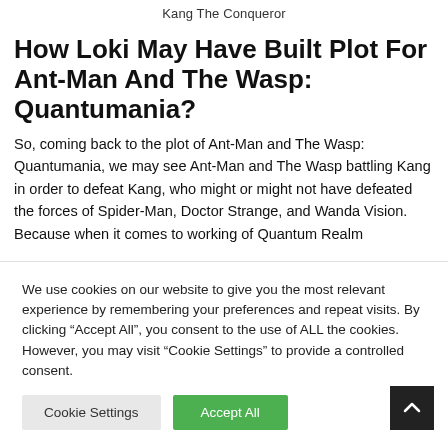Kang The Conqueror
How Loki May Have Built Plot For Ant-Man And The Wasp: Quantumania?
So, coming back to the plot of Ant-Man and The Wasp: Quantumania, we may see Ant-Man and The Wasp battling Kang in order to defeat Kang, who might or might not have defeated the forces of Spider-Man, Doctor Strange, and Wanda Vision. Because when it comes to working of Quantum Realm
We use cookies on our website to give you the most relevant experience by remembering your preferences and repeat visits. By clicking “Accept All”, you consent to the use of ALL the cookies. However, you may visit "Cookie Settings" to provide a controlled consent.